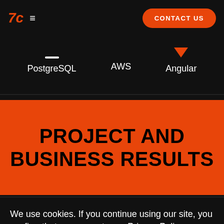7C  ≡  CONTACT US
PostgreSQL   AWS   Angular
PROJECT AND BUSINESS RESULTS
We use cookies. If you continue using our site, you confirm that you agree to our Privacy Policy.
ACCEPT